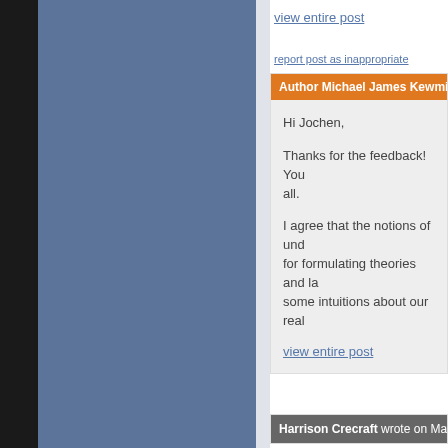view entire post
report post as inappropriate
Author Michael James Kewming repl…
Hi Jochen,

Thanks for the feedback! You all.

I agree that the notions of und… for formulating theories and la… some intuitions about our real…
view entire post
Harrison Crecraft wrote on May. 12, 2020 @